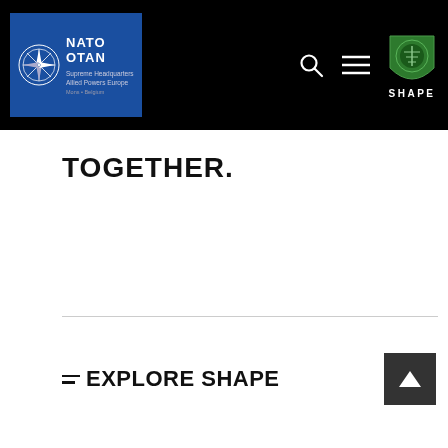NATO OTAN Supreme Headquarters Allied Powers Europe — SHAPE
TOGETHER.
EXPLORE SHAPE